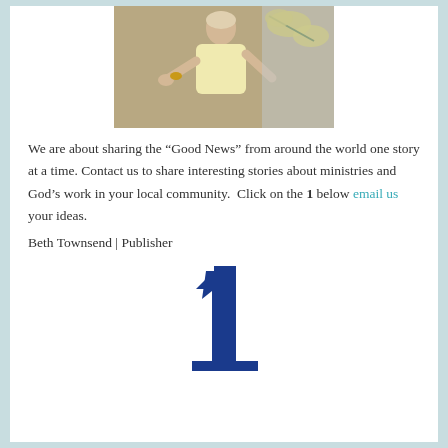[Figure (photo): A woman in a light yellow top with a yellow bracelet, speaking or presenting, gesturing with one hand raised. Background shows a lemon/citrus decorative element.]
We are about sharing the “Good News” from around the world one story at a time. Contact us to share interesting stories about ministries and God’s work in your local community.  Click on the 1 below email us your ideas.
Beth Townsend | Publisher
[Figure (illustration): A large bold blue number ‘1’ visible at the bottom of the page.]